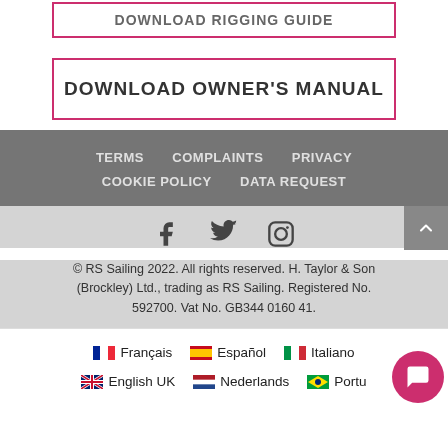DOWNLOAD RIGGING GUIDE
DOWNLOAD OWNER'S MANUAL
TERMS   COMPLAINTS   PRIVACY   COOKIE POLICY   DATA REQUEST
[Figure (illustration): Social media icons: Facebook, Twitter, Instagram]
© RS Sailing 2022. All rights reserved. H. Taylor & Son (Brockley) Ltd., trading as RS Sailing. Registered No. 592700. Vat No. GB344 0160 41.
🇫🇷 Français   🇪🇸 Español   🇮🇹 Italiano   🇬🇧 English UK   🇳🇱 Nederlands   🇧🇷 Portu…